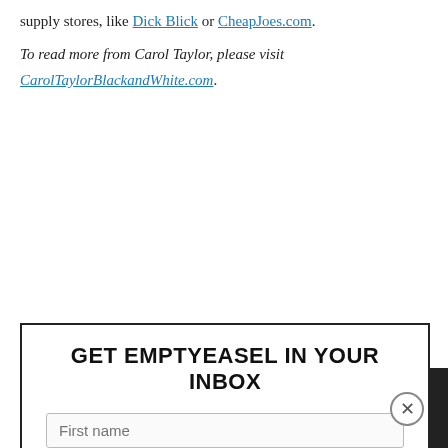supply stores, like Dick Blick or CheapJoes.com.
To read more from Carol Taylor, please visit CarolTaylorBlackandWhite.com.
GET EMPTYEASEL IN YOUR INBOX
First name